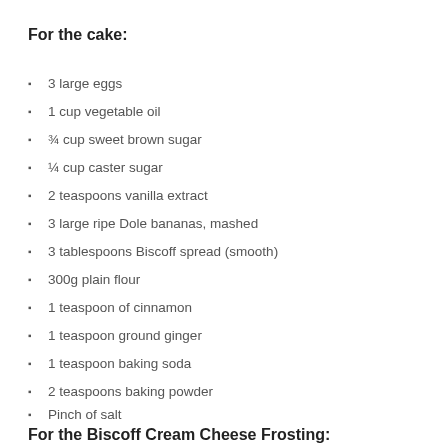For the cake:
3 large eggs
1 cup vegetable oil
¾ cup sweet brown sugar
¼ cup caster sugar
2 teaspoons vanilla extract
3 large ripe Dole bananas, mashed
3 tablespoons Biscoff spread (smooth)
300g plain flour
1 teaspoon of cinnamon
1 teaspoon ground ginger
1 teaspoon baking soda
2 teaspoons baking powder
Pinch of salt
For the Biscoff Cream Cheese Frosting: